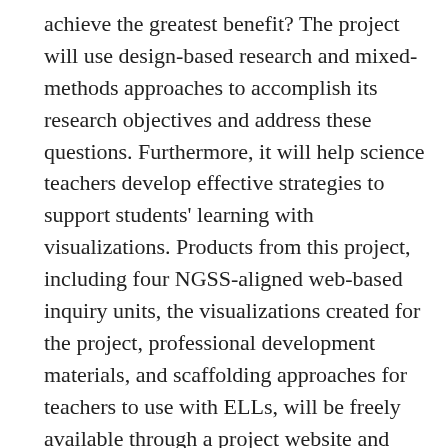achieve the greatest benefit? The project will use design-based research and mixed-methods approaches to accomplish its research objectives and address these questions. Furthermore, it will help science teachers develop effective strategies to support students' learning with visualizations. Products from this project, including four NGSS-aligned web-based inquiry units, the visualizations created for the project, professional development materials, and scaffolding approaches for teachers to use with ELLs, will be freely available through a project website and multiple professional development networks. The PI will collaborate with an advisory board of experts to develop the four instructional units, visualizations, and scaffolds, as well as with the participating teachers to refine these materials in an iterative fashion. Evaluation of the materials and workshops will be provided each year by the advisory board members, and their feedback will be used to improve design and implementation for the next year. The advisory